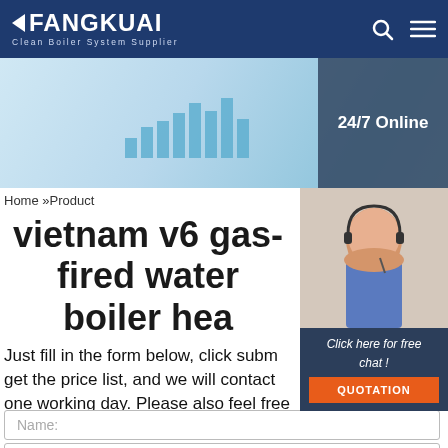FANGKUAI Clean Boiler System Supplier
[Figure (photo): Banner image showing a woman with headset in front of a monitor with charts, and a 24/7 Online overlay box on the right]
Home »Product
vietnam v6 gas-fired water boiler hea
[Figure (photo): Customer service representative with headset smiling, with 'Click here for free chat!' overlay and QUOTATION button]
Just fill in the form below, click subm get the price list, and we will contact one working day. Please also feel free to contact us via email or phone. (* is required).
Name:
Email: